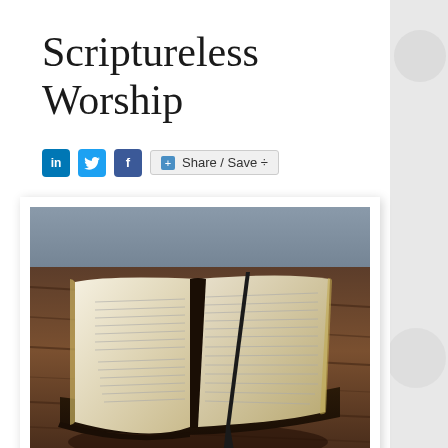Scriptureless Worship
[Figure (other): Social media sharing icons: LinkedIn (blue), Twitter (blue bird), Facebook (blue F), and a Share/Save button]
[Figure (photo): An open Bible with a black ribbon bookmark, lying on a rustic dark wooden table surface, photographed from an angle with shallow depth of field]
A worship service without Scripture reading may not be worship